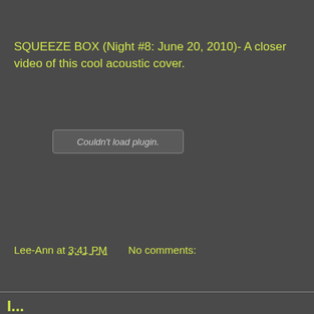SQUEEZE BOX (Night #8: June 20, 2010)- A closer video of this cool acoustic cover.
[Figure (other): Couldn't load plugin. placeholder box for embedded video plugin]
Lee-Ann at 3:41 PM    No comments:
Share
I...